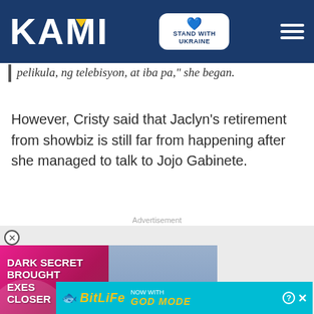KAMI — Stand with Ukraine
pelikula, ng telebisyon, at iba pa," she began.
However, Cristy said that Jaclyn's retirement from showbiz is still far from happening after she managed to talk to Jojo Gabinete.
Advertisement
[Figure (photo): Video advertisement thumbnail showing two people (man and woman) with text 'DARK SECRET BROUGHT EXES CLOSER' on a pink/magenta background, with a play button overlay and a red down-arrow bar.]
[Figure (photo): BitLife app advertisement banner with yellow logo text on cyan background reading 'BitLife NOW WITH GOD MODE' with finger pointing graphic.]